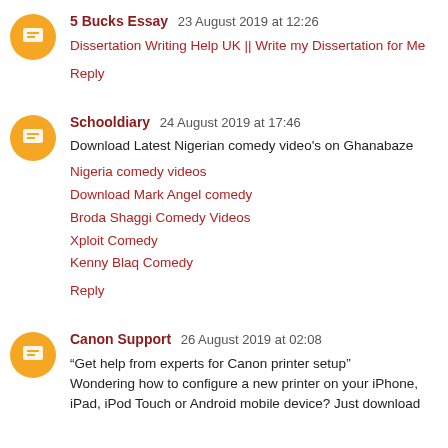5 Bucks Essay 23 August 2019 at 12:26
Dissertation Writing Help UK || Write my Dissertation for Me
Reply
Schooldiary 24 August 2019 at 17:46
Download Latest Nigerian comedy video's on Ghanabaze
Nigeria comedy videos
Download Mark Angel comedy
Broda Shaggi Comedy Videos
Xploit Comedy
Kenny Blaq Comedy
Reply
Canon Support 26 August 2019 at 02:08
“Get help from experts for Canon printer setup” Wondering how to configure a new printer on your iPhone, iPad, iPod Touch or Android mobile device? Just download